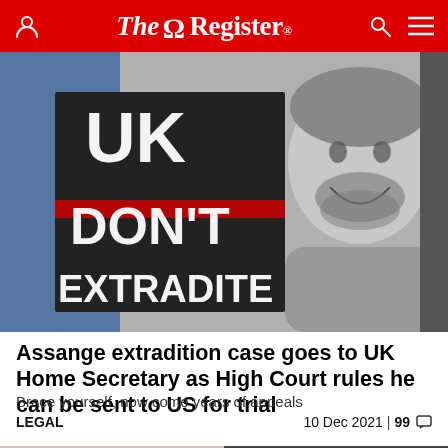The Register
[Figure (photo): Black and white protest photo showing person holding sign reading 'UK DON'T EXTRADITE' with a smiling bearded man visible on the right side]
Assange extradition case goes to UK Home Secretary as High Court rules he can be sent to US for trial
Brace yourself, now come years of appeals
LEGAL   10 Dec 2021 | 99
[Figure (photo): Partial photo showing a person with blonde/white hair on the left and a dark object on the right, visible at bottom of page]